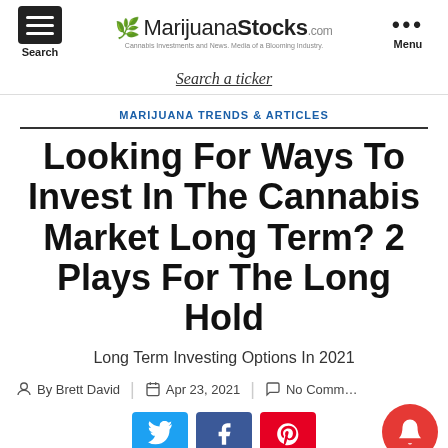MarijuanaStocks.com — Cannabis Investments and News. Media of a Blooming Industry.
Search a ticker
MARIJUANA TRENDS & ARTICLES
Looking For Ways To Invest In The Cannabis Market Long Term? 2 Plays For The Long Hold
Long Term Investing Options In 2021
By Brett David   Apr 23, 2021   No Comments